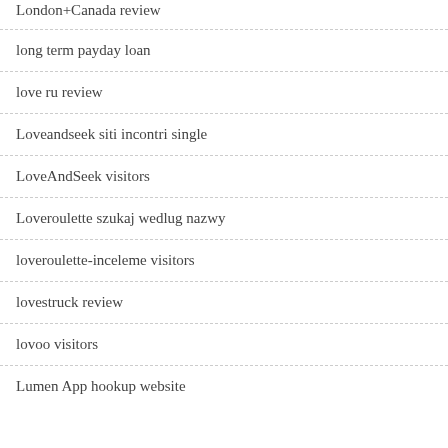London+Canada review
long term payday loan
love ru review
Loveandseek siti incontri single
LoveAndSeek visitors
Loveroulette szukaj wedlug nazwy
loveroulette-inceleme visitors
lovestruck review
lovoo visitors
Lumen App hookup website